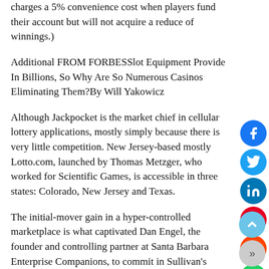charges a 5% convenience cost when players fund their account but will not acquire a reduce of winnings.)
Additional FROM FORBESSlot Equipment Provide In Billions, So Why Are So Numerous Casinos Eliminating Them?By Will Yakowicz
Although Jackpocket is the market chief in cellular lottery applications, mostly simply because there is very little competition. New Jersey-based mostly Lotto.com, launched by Thomas Metzger, who worked for Scientific Games, is accessible in three states: Colorado, New Jersey and Texas.
The initial-mover gain in a hyper-controlled marketplace is what captivated Dan Engel, the founder and controlling partner at Santa Barbara Enterprise Companions, to commit in Sullivan's